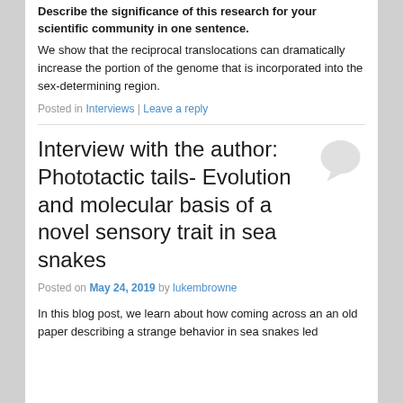Describe the significance of this research for your scientific community in one sentence.
We show that the reciprocal translocations can dramatically increase the portion of the genome that is incorporated into the sex-determining region.
Posted in Interviews | Leave a reply
Interview with the author: Phototactic tails- Evolution and molecular basis of a novel sensory trait in sea snakes
Posted on May 24, 2019 by lukembrowne
In this blog post, we learn about how coming across an an old paper describing a strange behavior in sea snakes led